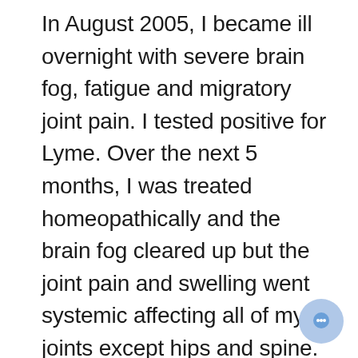In August 2005, I became ill overnight with severe brain fog, fatigue and migratory joint pain. I tested positive for Lyme. Over the next 5 months, I was treated homeopathically and the brain fog cleared up but the joint pain and swelling went systemic affecting all of my joints except hips and spine. My joints were so inflamed I could not open my mouth to eat. I was diagnosed with a severe form of rheumatoid arthritis and methotrexate was recommended. Intuitively, I felt that suppressing my immune system